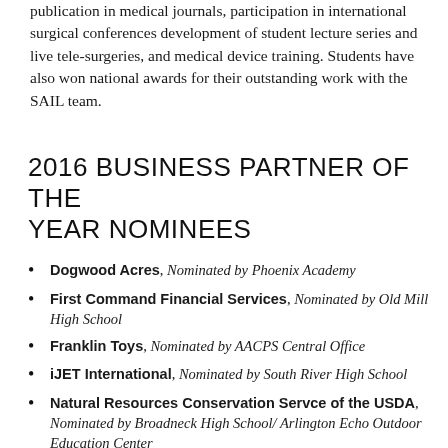publication in medical journals, participation in international surgical conferences development of student lecture series and live tele-surgeries, and medical device training. Students have also won national awards for their outstanding work with the SAIL team.
2016 BUSINESS PARTNER OF THE YEAR NOMINEES
Dogwood Acres, Nominated by Phoenix Academy
First Command Financial Services, Nominated by Old Mill High School
Franklin Toys, Nominated by AACPS Central Office
iJET International, Nominated by South River High School
Natural Resources Conservation Servce of the USDA, Nominated by Broadneck High School/ Arlington Echo Outdoor Education Center